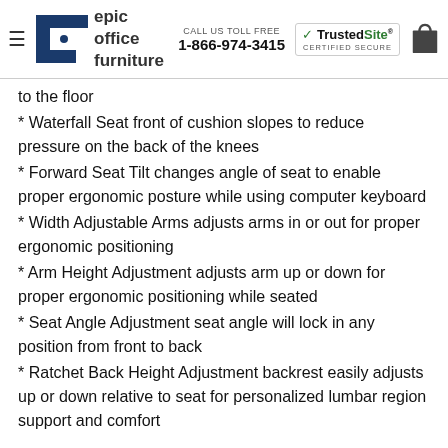epic office furniture | CALL US TOLL FREE 1-866-974-3415 | TrustedSite CERTIFIED SECURE
to the floor
* Waterfall Seat front of cushion slopes to reduce pressure on the back of the knees
* Forward Seat Tilt changes angle of seat to enable proper ergonomic posture while using computer keyboard
* Width Adjustable Arms adjusts arms in or out for proper ergonomic positioning
* Arm Height Adjustment adjusts arm up or down for proper ergonomic positioning while seated
* Seat Angle Adjustment seat angle will lock in any position from front to back
* Ratchet Back Height Adjustment backrest easily adjusts up or down relative to seat for personalized lumbar region support and comfort